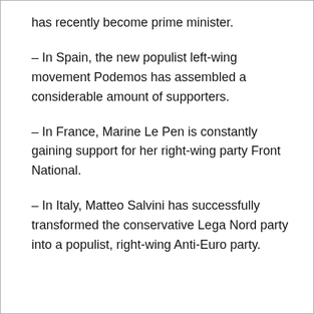has recently become prime minister.
– In Spain, the new populist left-wing movement Podemos has assembled a considerable amount of supporters.
– In France, Marine Le Pen is constantly gaining support for her right-wing party Front National.
– In Italy, Matteo Salvini has successfully transformed the conservative Lega Nord party into a populist, right-wing Anti-Euro party.